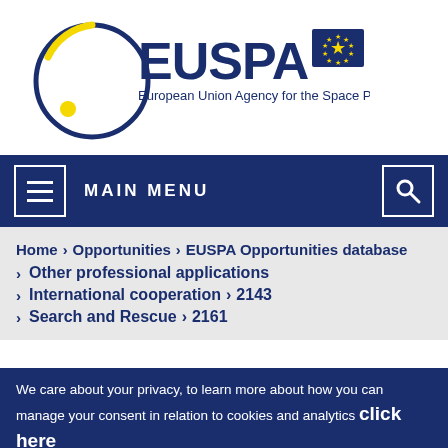[Figure (logo): EUSPA logo — European Union Agency for the Space Programme — circular orbit design with yellow dot, dark blue text, EU flag]
MAIN MENU
Home > Opportunities > EUSPA Opportunities database > Other professional applications > International cooperation > 2143 > Search and Rescue > 2161
We care about your privacy, to learn more about how you can manage your consent in relation to cookies and analytics click here